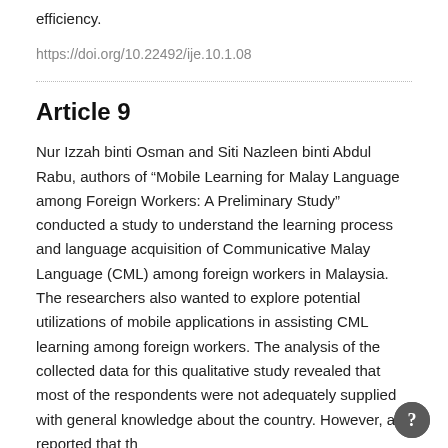efficiency.
https://doi.org/10.22492/ije.10.1.08
Article 9
Nur Izzah binti Osman and Siti Nazleen binti Abdul Rabu, authors of “Mobile Learning for Malay Language among Foreign Workers: A Preliminary Study” conducted a study to understand the learning process and language acquisition of Communicative Malay Language (CML) among foreign workers in Malaysia. The researchers also wanted to explore potential utilizations of mobile applications in assisting CML learning among foreign workers. The analysis of the collected data for this qualitative study revealed that most of the respondents were not adequately supplied with general knowledge about the country. However, and reported that th…